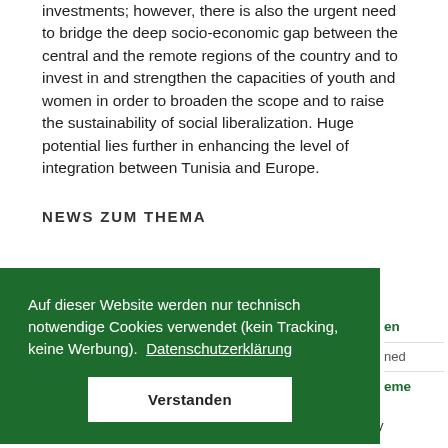investments; however, there is also the urgent need to bridge the deep socio-economic gap between the central and the remote regions of the country and to invest in and strengthen the capacities of youth and women in order to broaden the scope and to raise the sustainability of social liberalization. Huge potential lies further in enhancing the level of integration between Tunisia and Europe.
NEWS ZUM THEMA
Auf dieser Website werden nur technisch notwendige Cookies verwendet (kein Tracking, keine Werbung). Datenschutzerklärung
Verstanden
New Policy Paper in the Policy Advice and Strategy